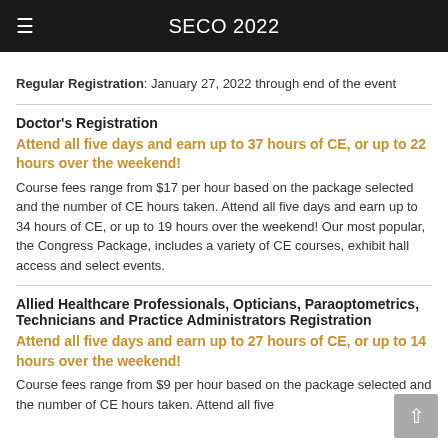SECO 2022
Regular Registration: January 27, 2022 through end of the event
Doctor's Registration
Attend all five days and earn up to 37 hours of CE, or up to 22 hours over the weekend!
Course fees range from $17 per hour based on the package selected and the number of CE hours taken. Attend all five days and earn up to 34 hours of CE, or up to 19 hours over the weekend! Our most popular, the Congress Package, includes a variety of CE courses, exhibit hall access and select events.
Allied Healthcare Professionals, Opticians, Paraoptometrics, Technicians and Practice Administrators Registration
Attend all five days and earn up to 27 hours of CE, or up to 14 hours over the weekend!
Course fees range from $9 per hour based on the package selected and the number of CE hours taken. Attend all five days and earn...